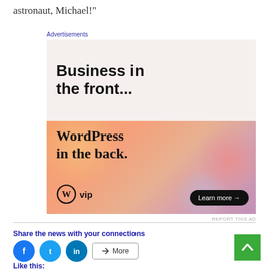astronaut, Michael!"
Advertisements
[Figure (other): WordPress VIP advertisement banner. Top half: light grey background with bold text 'Business in the front...'. Bottom half: orange-pink gradient background with serif bold text 'WordPress in the back.' and WordPress VIP logo with 'Learn more' button.]
REPORT THIS AD
Share the news with your connections
[Figure (other): Social share icons: Facebook (blue circle), Twitter (blue circle), LinkedIn (blue circle), and a More button with share icon]
Like this: